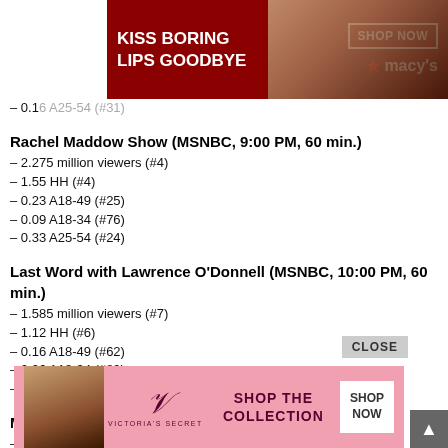[Figure (photo): Macy's advertisement banner: red background with woman's face wearing red lipstick, text 'KISS BORING LIPS GOODBYE', 'SHOP NOW' button, Macy's star logo]
– 0.16 A25-54 (#31)
Rachel Maddow Show (MSNBC, 9:00 PM, 60 min.)
– 2.275 million viewers (#4)
– 1.55 HH (#4)
– 0.23 A18-49 (#25)
– 0.09 A18-34 (#76)
– 0.33 A25-54 (#24)
Last Word with Lawrence O'Donnell (MSNBC, 10:00 PM, 60 min.)
– 1.585 million viewers (#7)
– 1.12 HH (#6)
– 0.16 A18-49 (#62)
– 0.06 A18-34 (#89)
– 0.23 A25-54 (#52)
Mr. Popper's Penguins (NAN, 8:00 PM, 120 min.)
– 0.716 million viewers (#50)
– 0.43 HH (#48)
[Figure (photo): Victoria's Secret advertisement: pink background, woman's face, Victoria's Secret logo, 'SHOP THE COLLECTION' text, 'SHOP NOW' button]